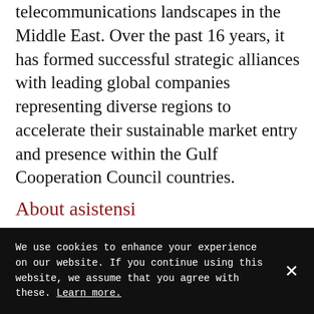telecommunications landscapes in the Middle East. Over the past 16 years, it has formed successful strategic alliances with leading global companies representing diverse regions to accelerate their sustainable market entry and presence within the Gulf Cooperation Council countries.
About asistensi
We use cookies to enhance your experience on our website. If you continue using this website, we assume that you agree with these. Learn more.